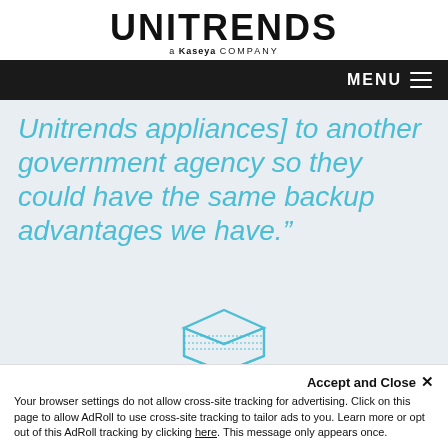[Figure (logo): Unitrends logo with 'a Kaseya company' tagline]
MENU
Unitrends appliances] to another government agency so they could have the same backup advantages we have.”
[Figure (illustration): Unitrends server/appliance outline icon in teal]
Accept and Close ×
Your browser settings do not allow cross-site tracking for advertising. Click on this page to allow AdRoll to use cross-site tracking to tailor ads to you. Learn more or opt out of this AdRoll tracking by clicking here. This message only appears once.